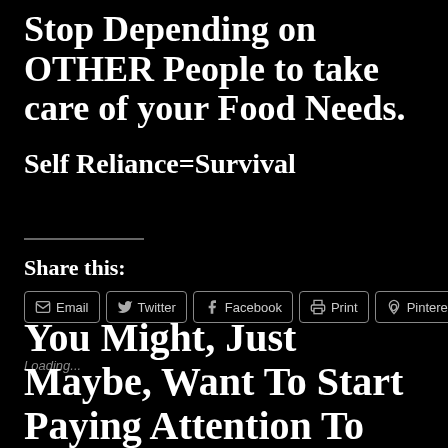Stop Depending on OTHER People to take care of your Food Needs.
Self Reliance=Survival
Share this:
Email | Twitter | Facebook | Print | Pinterest
Loading...
You Might, Just Maybe, Want To Start Paying Attention To